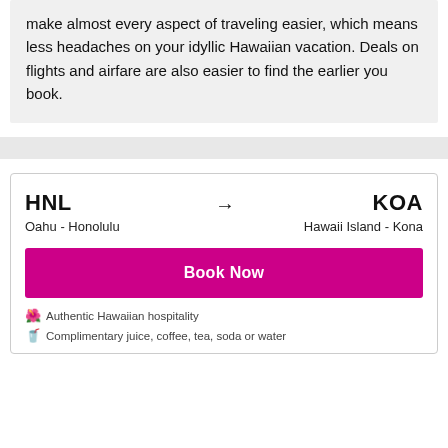make almost every aspect of traveling easier, which means less headaches on your idyllic Hawaiian vacation. Deals on flights and airfare are also easier to find the earlier you book.
HNL → KOA
Oahu - Honolulu    Hawaii Island - Kona
Book Now
Authentic Hawaiian hospitality
Complimentary juice, coffee, tea, soda or water